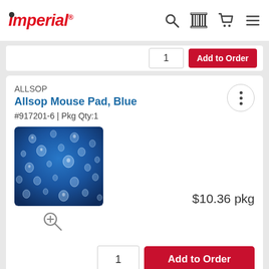Imperial
1  Add to Order
ALLSOP
Allsop Mouse Pad, Blue
#917201-6 | Pkg Qty:1
[Figure (photo): Blue mouse pad with water droplets on surface]
$10.36 pkg
1  Add to Order